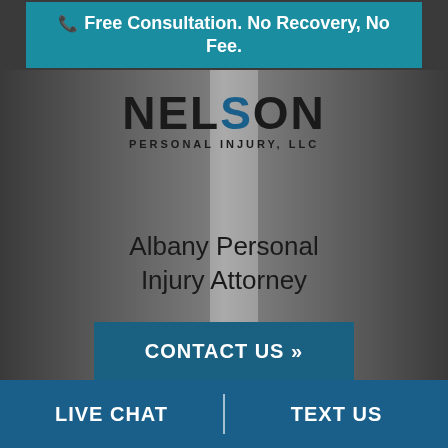📞 Free Consultation. No Recovery, No Fee.
[Figure (photo): Black and white photo of two attorneys from Nelson Personal Injury LLC standing in front of a city background, with the firm logo and 'Albany Personal Injury Attorney' text overlaid]
CONTACT US »
LIVE CHAT
TEXT US